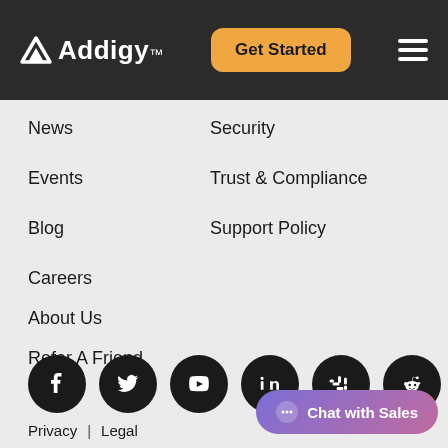Addigy — Get Started
News
Security
Events
Trust & Compliance
Blog
Support Policy
Careers
About Us
Refer A Friend
[Figure (logo): Social media icons: Facebook, Twitter, YouTube, LinkedIn, Slack, Reddit — all white on black circle backgrounds]
Privacy  |  Legal
Chat with Sales